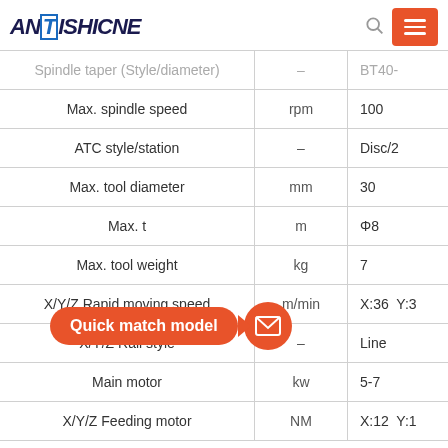ANTISHICNE
| Parameter | Unit | Value |
| --- | --- | --- |
| Spindle taper (Style/diameter) | – | BT40-... |
| Max. spindle speed | rpm | 100... |
| ATC style/station | – | Disc/2... |
| Max. tool diameter | mm | 30... |
| Max. tool length | mm | Φ8... |
| Max. tool weight | kg | 7... |
| X/Y/Z Rapid moving speed | m/min | X:36  Y:3... |
| X/Y/Z Rail style | – | Line... |
| Main motor | kw | 5-7... |
| X/Y/Z Feeding motor | NM | X:12  Y:1... |
[Figure (infographic): Orange speech bubble overlay with text 'Quick match model' and an orange circle with envelope icon]